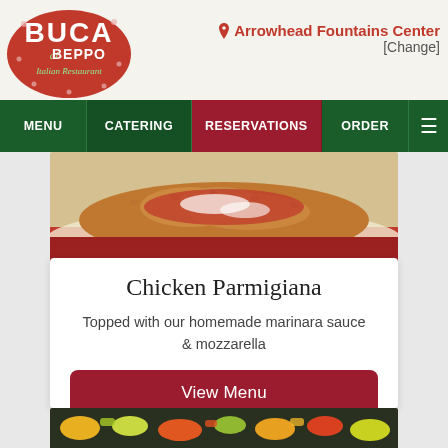[Figure (logo): Buca di Beppo Italian Restaurant logo - red circular logo with stylized text]
Arrowhead Fountains Center [Change]
[Figure (screenshot): Navigation bar with MENU, CATERING, RESERVATIONS, ORDER, and hamburger menu items]
[Figure (photo): Photo of Chicken Parmigiana - breaded chicken topped with marinara sauce and mozzarella on a plate]
Chicken Parmigiana
Topped with our homemade marinara sauce & mozzarella
View Menu
[Figure (photo): Partial photo of another food item at the bottom of the page]